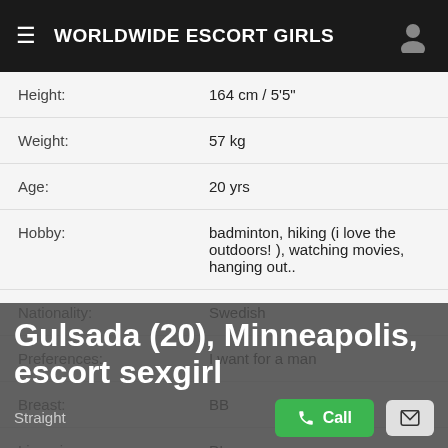WORLDWIDE ESCORT GIRLS
| Field | Value |
| --- | --- |
| Height: | 164 cm / 5'5" |
| Weight: | 57 kg |
| Age: | 20 yrs |
| Hobby: | badminton, hiking (i love the outdoors! ), watching movies, hanging out.. |
| Nationality: | Swedish |
| Preferences: | I want for a man |
| Breast: | BB |
| Lingerie: | D'amore |
| Orientation: | Straight |
Gulsada (20), Minneapolis, escort sexgirl